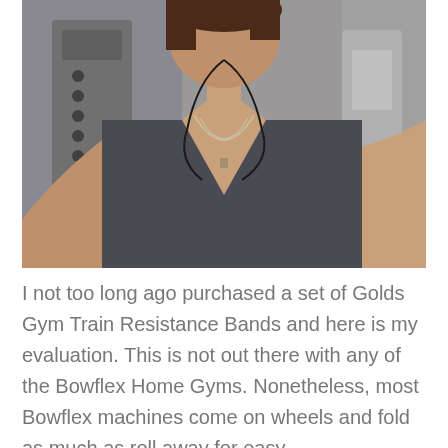[Figure (photo): A woman taking a gym selfie wearing a dark tank top and earbuds/headphones, with gym equipment visible in the background. She is wearing a silver necklace.]
I not too long ago purchased a set of Golds Gym Train Resistance Bands and here is my evaluation. This is not out there with any of the Bowflex Home Gyms. Nonetheless, most Bowflex machines come on wheels and fold as much as roll away for easy